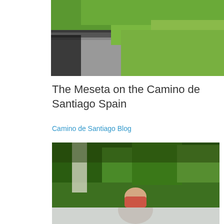[Figure (photo): Aerial or roadside view of a path or road through green countryside vegetation, lush greenery on both sides]
The Meseta on the Camino de Santiago Spain
Camino de Santiago Blog
[Figure (photo): Person smiling among dense green trees and bushes on the Camino de Santiago]
[Figure (photo): Partial view of person, lower portion of image cut off]